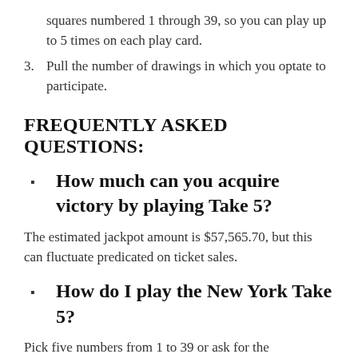squares numbered 1 through 39, so you can play up to 5 times on each play card.
3. Pull the number of drawings in which you optate to participate.
FREQUENTLY ASKED QUESTIONS:
How much can you acquire victory by playing Take 5?
The estimated jackpot amount is $57,565.70, but this can fluctuate predicated on ticket sales.
How do I play the New York Take 5?
Pick five numbers from 1 to 39 or ask for the